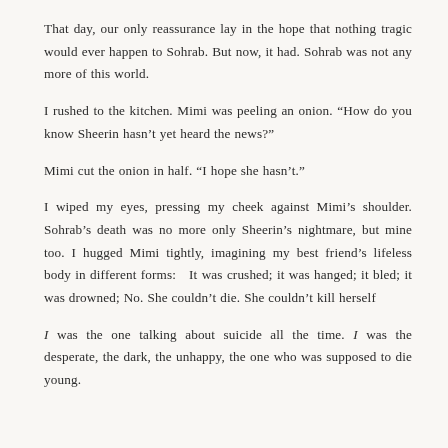That day, our only reassurance lay in the hope that nothing tragic would ever happen to Sohrab. But now, it had. Sohrab was not any more of this world.
I rushed to the kitchen. Mimi was peeling an onion. “How do you know Sheerin hasn’t yet heard the news?”
Mimi cut the onion in half. “I hope she hasn’t.”
I wiped my eyes, pressing my cheek against Mimi’s shoulder. Sohrab’s death was no more only Sheerin’s nightmare, but mine too. I hugged Mimi tightly, imagining my best friend’s lifeless body in different forms:   It was crushed; it was hanged; it bled; it was drowned; No. She couldn’t die. She couldn’t kill herself
I was the one talking about suicide all the time. I was the desperate, the dark, the unhappy, the one who was supposed to die young.